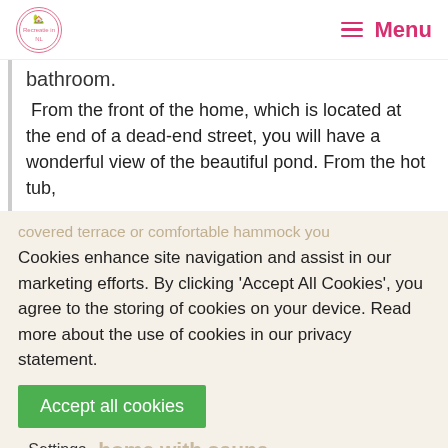Menu
bathroom.
From the front of the home, which is located at the end of a dead-end street, you will have a wonderful view of the beautiful pond. From the hot tub,
covered terrace or comfortable hammock you
Cookies enhance site navigation and assist in our marketing efforts. By clicking 'Accept All Cookies', you agree to the storing of cookies on your device. Read more about the use of cookies in our privacy statement.
Accept all cookies
Settings
home with sauna
In the annex you will find an infrared sauna for four